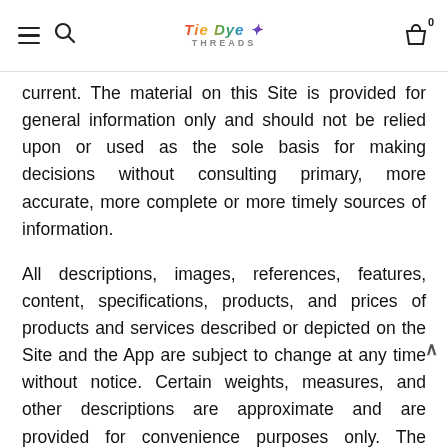Tie Dye Threads — navigation header with hamburger menu, search icon, logo, and cart icon (0 items)
current. The material on this Site is provided for general information only and should not be relied upon or used as the sole basis for making decisions without consulting primary, more accurate, more complete or more timely sources of information.
All descriptions, images, references, features, content, specifications, products, and prices of products and services described or depicted on the Site and the App are subject to change at any time without notice. Certain weights, measures, and other descriptions are approximate and are provided for convenience purposes only. The inclusion of any products or services on the Site and the App does not imply or warrant that the products or services will be available. It is your